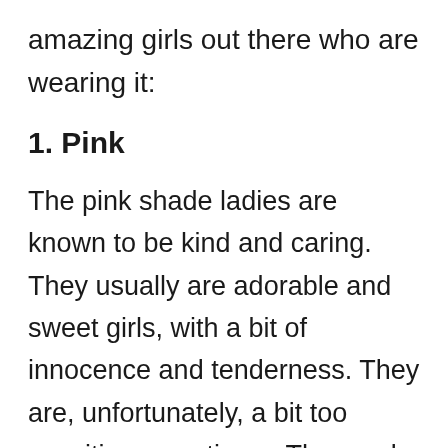amazing girls out there who are wearing it:
1. Pink
The pink shade ladies are known to be kind and caring. They usually are adorable and sweet girls, with a bit of innocence and tenderness. They are, unfortunately, a bit too sensitive sometimes. They make amazing friends that you can trust completely